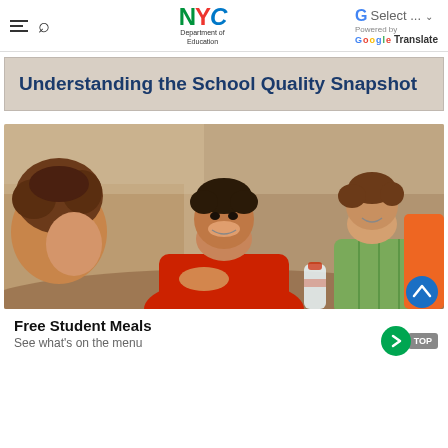NYC Department of Education — Select Language (Google Translate)
Understanding the School Quality Snapshot
[Figure (photo): Children laughing and eating together at a school cafeteria table. A boy in a red shirt is in the center, flanked by a girl with curly hair on the left and a boy in a green plaid shirt on the right.]
Free Student Meals
See what's on the menu